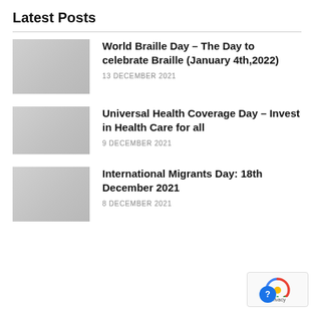Latest Posts
World Braille Day – The Day to celebrate Braille (January 4th,2022)
13 DECEMBER 2021
Universal Health Coverage Day – Invest in Health Care for all
9 DECEMBER 2021
International Migrants Day: 18th December 2021
8 DECEMBER 2021